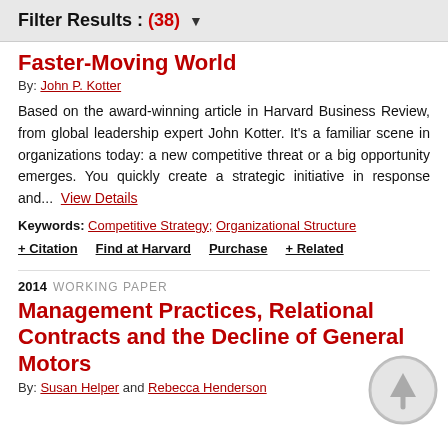Filter Results : (38) ▼
Faster-Moving World
By: John P. Kotter
Based on the award-winning article in Harvard Business Review, from global leadership expert John Kotter. It's a familiar scene in organizations today: a new competitive threat or a big opportunity emerges. You quickly create a strategic initiative in response and...  View Details
Keywords: Competitive Strategy; Organizational Structure
+ Citation   Find at Harvard   Purchase   + Related
2014   WORKING PAPER
Management Practices, Relational Contracts and the Decline of General Motors
By: Susan Helper and Rebecca Henderson